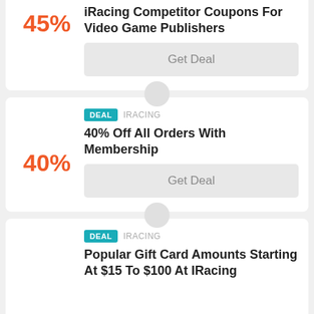45%
iRacing Competitor Coupons For Video Game Publishers
Get Deal
DEAL  IRACING
40% Off All Orders With Membership
40%
Get Deal
DEAL  IRACING
Popular Gift Card Amounts Starting At $15 To $100 At IRacing
$15